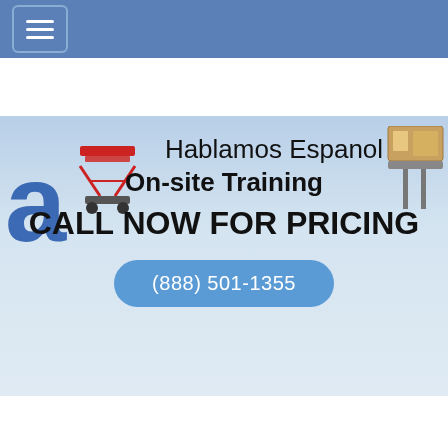Navigation menu (hamburger icon)
[Figure (photo): Hero banner image with aerial lift equipment (scissor lift on left, boom lift basket on right) and blue sky background]
Hablamos Espanol
On-site Training
CALL NOW FOR PRICING
(888) 501-1355
Aerial Lift Training Onward Indiana